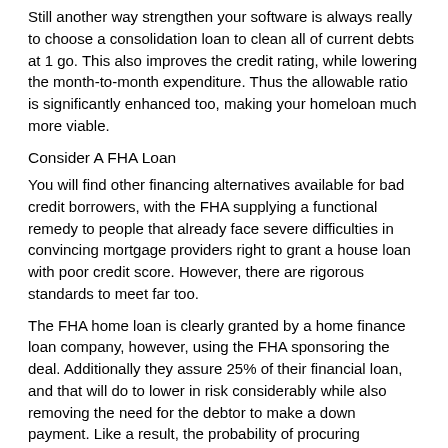Still another way strengthen your software is always really to choose a consolidation loan to clean all of current debts at 1 go. This also improves the credit rating, while lowering the month-to-month expenditure. Thus the allowable ratio is significantly enhanced too, making your homeloan much more viable.
Consider A FHA Loan
You will find other financing alternatives available for bad credit borrowers, with the FHA supplying a functional remedy to people that already face severe difficulties in convincing mortgage providers right to grant a house loan with poor credit score. However, there are rigorous standards to meet far too.
The FHA home loan is clearly granted by a home finance loan company, however, using the FHA sponsoring the deal. Additionally they assure 25% of their financial loan, and that will do to lower in risk considerably while also removing the need for the debtor to make a down payment. Like a result, the probability of procuring mortgage approval have been greatly improved.
No matter how the FHA program is earmarked for lousy credit unions with scores of 560 and above, while applicants may have no loan defaults for just 12 months, have 3 forms of credit and don't have any outstanding CCJs or bankruptcies. Just then can an candidate be eligible to get an FHA-sponsored home loan.
Earning Your Home Loan More Reasonably Priced